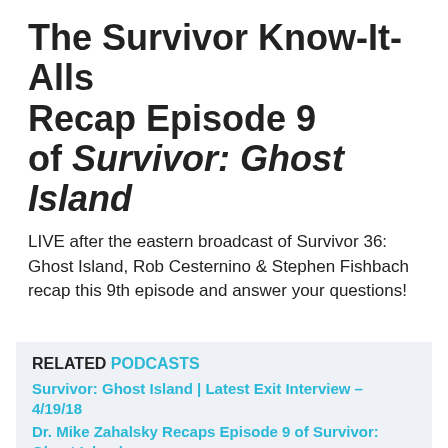The Survivor Know-It-Alls Recap Episode 9 of Survivor: Ghost Island
LIVE after the eastern broadcast of Survivor 36: Ghost Island, Rob Cesternino & Stephen Fishbach recap this 9th episode and answer your questions!
RELATED PODCASTS
Survivor: Ghost Island | Latest Exit Interview – 4/19/18
Dr. Mike Zahalsky Recaps Episode 9 of Survivor: Ghost Island
RHAP B&B with Mike Bloom & Liana Boraas | Survivor 36 Episode 9 with Jessica Liese
Nicole Cesternino Answers Ep #9 Feedback from Survivor: Ghost Island
Why ______ Lost Survivor 36 Episode 9 with David Bloomberg & Jessica Lewis